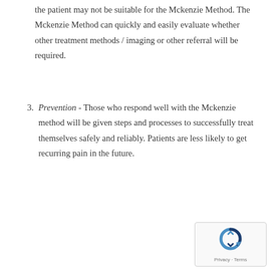the patient may not be suitable for the Mckenzie Method. The Mckenzie Method can quickly and easily evaluate whether other treatment methods / imaging or other referral will be required.
3. Prevention - Those who respond well with the Mckenzie method will be given steps and processes to successfully treat themselves safely and reliably. Patients are less likely to get recurring pain in the future.
[Figure (other): reCAPTCHA widget with circular arrow icon and Privacy - Terms footer text]